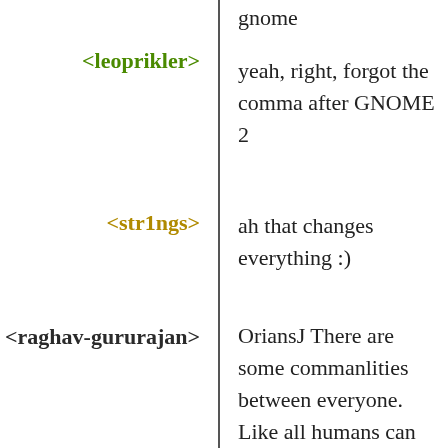gnome
<leoprikler>
yeah, right, forgot the comma after GNOME 2
<str1ngs>
ah that changes everything :)
<raghav-gururajan>
OriansJ There are some commanlities between everyone. Like all humans can only perceive certain range of wavelength and frequency. Light and Sound for example. But the studying the diversity is to discover